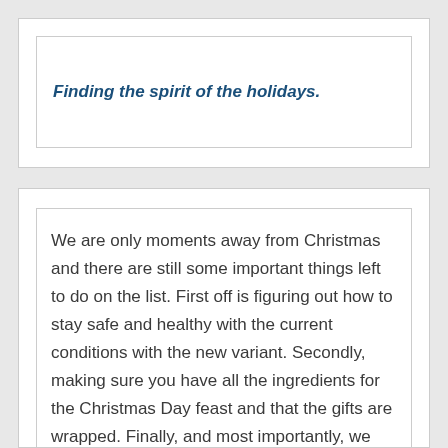Finding the spirit of the holidays.
We are only moments away from Christmas and there are still some important things left to do on the list. First off is figuring out how to stay safe and healthy with the current conditions with the new variant. Secondly, making sure you have all the ingredients for the Christmas Day feast and that the gifts are wrapped. Finally, and most importantly, we need to find the Spirit of Christmas; and that is no small task in these bleak and dark days.